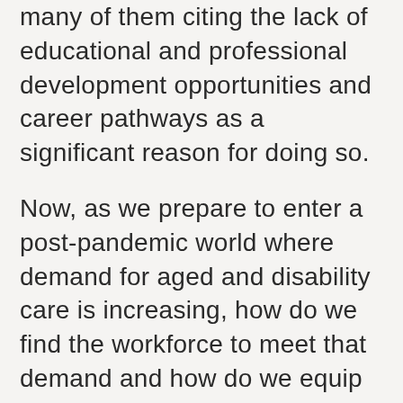many of them citing the lack of educational and professional development opportunities and career pathways as a significant reason for doing so.
Now, as we prepare to enter a post-pandemic world where demand for aged and disability care is increasing, how do we find the workforce to meet that demand and how do we equip them with the skills they will need to meet future challenges?